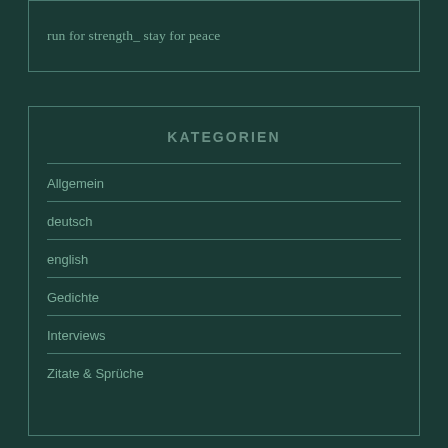run for strength_ stay for peace
KATEGORIEN
Allgemein
deutsch
english
Gedichte
Interviews
Zitate & Sprüche